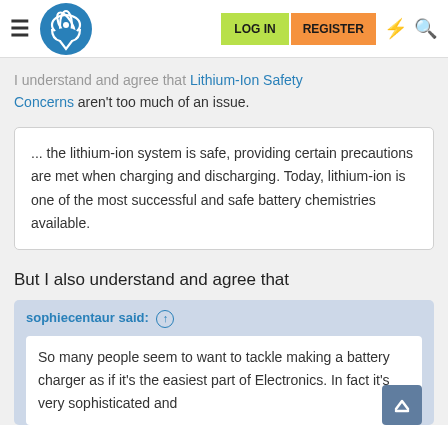Navigation bar with hamburger menu, logo, LOG IN button, REGISTER button, lightning icon, search icon
I understand and agree that Lithium-Ion Safety Concerns aren't too much of an issue.
... the lithium-ion system is safe, providing certain precautions are met when charging and discharging. Today, lithium-ion is one of the most successful and safe battery chemistries available.
But I also understand and agree that
sophiecentaur said: ↑
So many people seem to want to tackle making a battery charger as if it's the easiest part of Electronics. In fact it's very sophisticated and